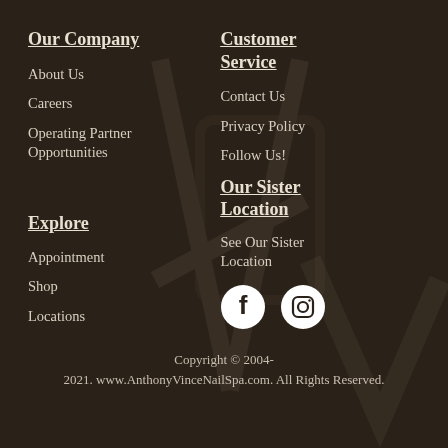Our Company
About Us
Careers
Operating Partner Opportunities
Customer Service
Contact Us
Privacy Policy
Follow Us!
Our Sister Location
See Our Sister Location
Explore
Appointment
Shop
Locations
[Figure (illustration): Facebook and Instagram social media icons (white circles with f and camera icons)]
Copyright © 2004-2021. www.AnthonyVinceNailSpa.com. All Rights Reserved.